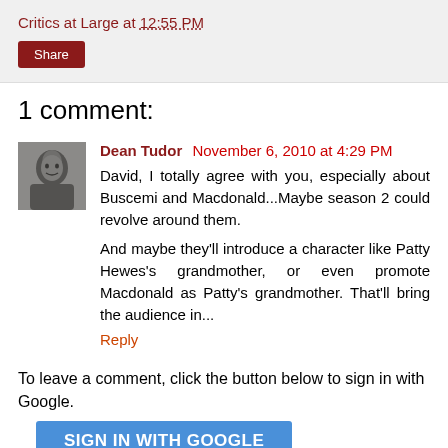Critics at Large at 12:55 PM
Share
1 comment:
Dean Tudor  November 6, 2010 at 4:29 PM
David, I totally agree with you, especially about Buscemi and Macdonald...Maybe season 2 could revolve around them.
And maybe they'll introduce a character like Patty Hewes's grandmother, or even promote Macdonald as Patty's grandmother. That'll bring the audience in...
Reply
To leave a comment, click the button below to sign in with Google.
SIGN IN WITH GOOGLE